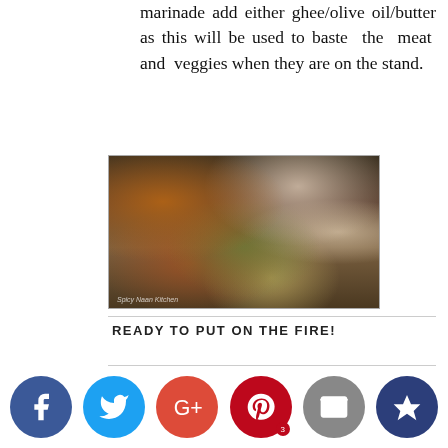marinade add either ghee/olive oil/butter as this will be used to baste the meat and veggies when they are on the stand.
[Figure (photo): Photo of skewers loaded with marinated chicken, mushrooms, zucchini, onions, and yellow peppers arranged on a metal tray, ready to be grilled.]
READY TO PUT ON THE FIRE!
[Figure (infographic): Social media sharing buttons row: Facebook (blue), Twitter (light blue), Google+ (red-orange), Pinterest (dark red with badge '3'), Email/envelope (gray), Crown/bookmark (dark blue)]